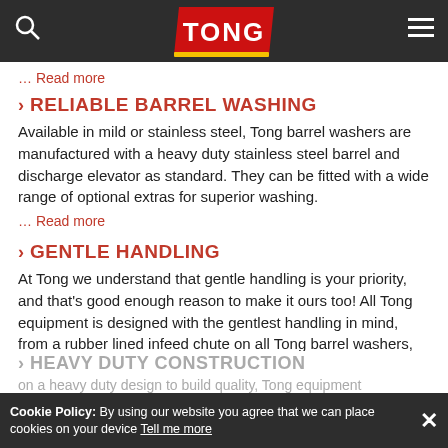TONG (logo navigation bar with search and menu icons)
… Read more
> RELIABLE BARREL WASHING
Available in mild or stainless steel, Tong barrel washers are manufactured with a heavy duty stainless steel barrel and discharge elevator as standard. They can be fitted with a wide range of optional extras for superior washing.
… Read more
> GENTLE HANDLING
At Tong we understand that gentle handling is your priority, and that's good enough reason to make it ours too! All Tong equipment is designed with the gentlest handling in mind, from a rubber lined infeed chute on all Tong barrel washers,
… Read more
> HEAVY DUTY CONSTRUCTION
on a heavy duty design to build quality, Tong equipment
Cookie Policy: By using our website you agree that we can place cookies on your device Tell me more ×